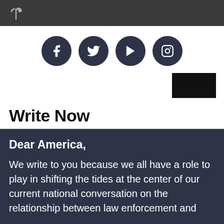[Logo icon - tree/plant symbol]
[Figure (logo): Four social media icons in dark navy circles: Facebook, Twitter, YouTube, Instagram]
[Figure (other): Black rectangle button in upper right area]
Write Now
Dear America,
We write to you because we all have a role to play in shifting the tides at the center of our current national conversation on the relationship between law enforcement and...